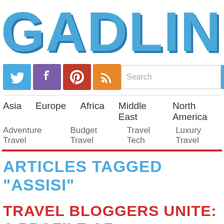GADLING
[Figure (screenshot): Social media icons: Twitter (blue), Facebook (purple), Pinterest (red), RSS (orange); and a search bar with SEARCH button]
Asia  Europe  Africa  Middle East  North America  Adventure Travel  Budget Travel  Travel Tech  Luxury Travel
ARTICLES TAGGED "ASSISI"
TRAVEL BLOGGERS UNITE: A PROFILE OF THE CONFERENCE FROM UMBRIA, ITALY